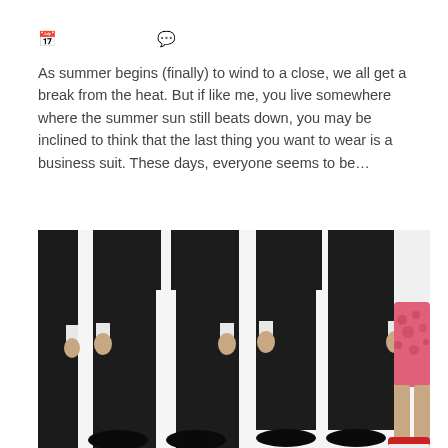📅  💬
As summer begins (finally) to wind to a close, we all get a break from the heat. But if like me, you live somewhere where the summer sun still beats down, you may be inclined to think that the last thing you want to wear is a business suit. These days, everyone seems to be...
[Figure (photo): Photo showing lower halves of people: two figures in black business suit trousers and black dress shoes on the left, and one figure in pink patterned shorts with red sneakers on the right.]